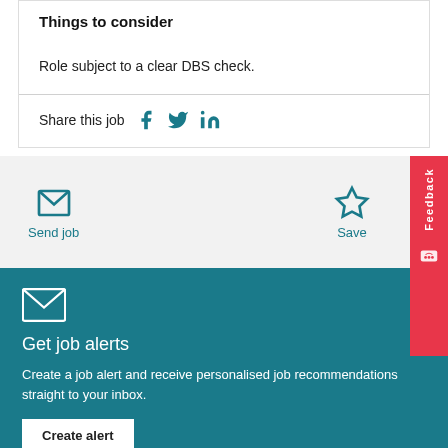Things to consider
Role subject to a clear DBS check.
Share this job
Send job
Save
Feedback
Get job alerts
Create a job alert and receive personalised job recommendations straight to your inbox.